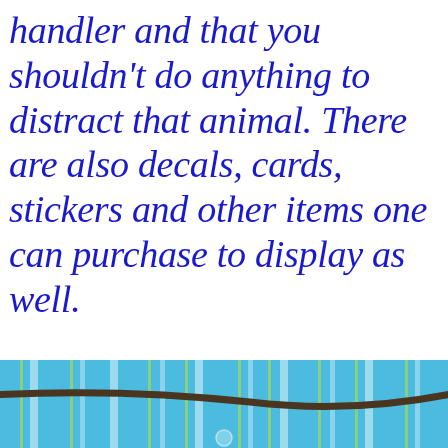handler and that you shouldn't do anything to distract that animal. There are also decals, cards, stickers and other items one can purchase to display as well.
[Figure (photo): Bottom portion of image showing a blue striped fabric/mat surface with a dark rope or leash visible]